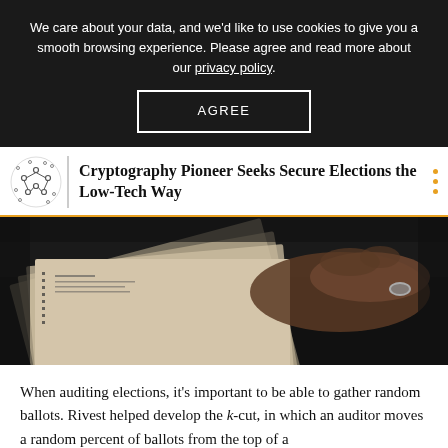We care about your data, and we'd like to use cookies to give you a smooth browsing experience. Please agree and read more about our privacy policy.
AGREE
Cryptography Pioneer Seeks Secure Elections the Low-Tech Way
[Figure (photo): A hand holding a stack of paper ballots fanned out, showing printed ballot forms with dotted lines and text, photographed in dark lighting.]
When auditing elections, it's important to be able to gather random ballots. Rivest helped develop the k-cut, in which an auditor moves a random percent of ballots from the top of a